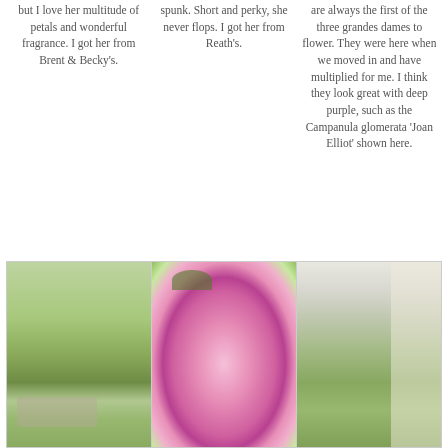but I love her multitude of petals and wonderful fragrance. I got her from Brent & Becky's.
spunk. Short and perky, she never flops. I got her from Reath’s.
are always the first of the three grandes dames to flower. They were here when we moved in and have multiplied for me. I think they look great with deep purple, such as the Campanula glomerata ‘Joan Elliot’ shown here.
[Figure (photo): Garden scene with pink peonies in background, green foliage and path visible]
[Figure (photo): Close-up of a pink peony flower in full bloom]
[Figure (photo): Garden scene with green shrubs and a light-colored wall or fence in background]